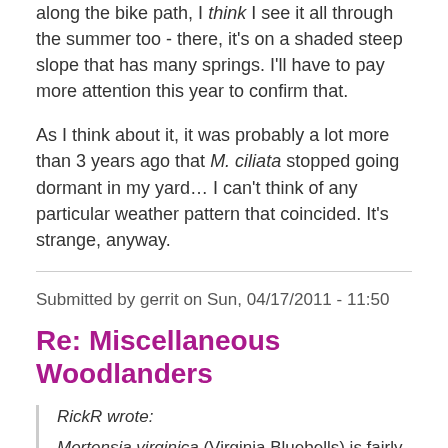along the bike path, I think I see it all through the summer too - there, it's on a shaded steep slope that has many springs.  I'll have to pay more attention this year to confirm that.
As I think about it, it was probably a lot more than 3 years ago that M. ciliata stopped going dormant in my yard… I can't think of any particular weather pattern that coincided.  It's strange, anyway.
Submitted by gerrit on Sun, 04/17/2011 - 11:50
Re: Miscellaneous Woodlanders
RickR wrote:
Mertensia virginica (Virginia Bluebells) is fairly common among shade gardeners here, although fairly difficult to find in nurseries.   It is well loved, and though it